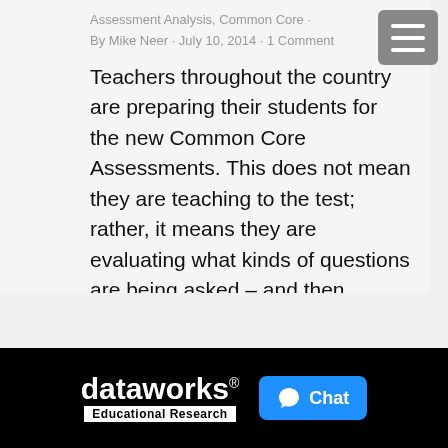Assessment Analysis, Common Core ·
By Mike Neer · July 10, 2014 · 1 Comment
Teachers throughout the country are preparing their students for the new Common Core Assessments. This does not mean they are teaching to the test; rather, it means they are evaluating what kinds of questions are being asked – and then deciding how to modify their lessons so the students are ready. This is especially important...
dataworks® Educational Research